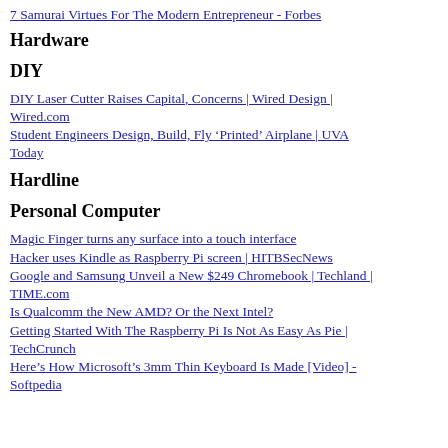7 Samurai Virtues For The Modern Entrepreneur - Forbes
Hardware
DIY
DIY Laser Cutter Raises Capital, Concerns | Wired Design | Wired.com
Student Engineers Design, Build, Fly ‘Printed’ Airplane | UVA Today
Hardline
Personal Computer
Magic Finger turns any surface into a touch interface
Hacker uses Kindle as Raspberry Pi screen | HITBSecNews
Google and Samsung Unveil a New $249 Chromebook | Techland | TIME.com
Is Qualcomm the New AMD? Or the Next Intel?
Getting Started With The Raspberry Pi Is Not As Easy As Pie | TechCrunch
Here’s How Microsoft’s 3mm Thin Keyboard Is Made [Video] - Softpedia